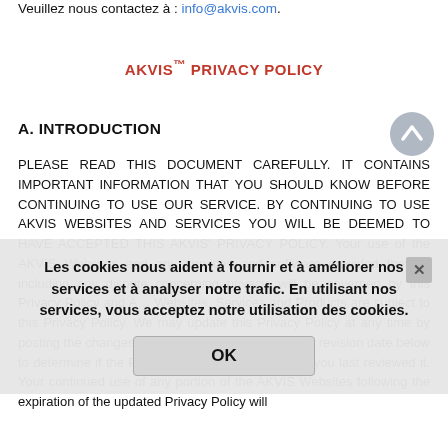Veuillez nous contactez à : info@akvis.com.
AKVIS™ PRIVACY POLICY
A. INTRODUCTION
PLEASE READ THIS DOCUMENT CAREFULLY. IT CONTAINS IMPORTANT INFORMATION THAT YOU SHOULD KNOW BEFORE CONTINUING TO USE OUR SERVICE. BY CONTINUING TO USE AKVIS WEBSITES AND SERVICES YOU WILL BE DEEMED TO HAVE ACCEPTED THIS AKVIS' PRIVACY POLICY. Your use of the AKVIS Websites and any services and software provided therein, including any dispute concerning privacy, will be governed by this Privacy Policy and A… Websites, Services and Products are subject to this Privacy Policy. We may update this Privacy Policy at any time by posting the changes on this page. Please check the revision date below to determine if the Policy has been modified since you last reviewed it. Your continued use of any portion of the AKVIS Websites following the expiration of the updated Privacy Policy will
Les cookies nous aident à fournir et à améliorer nos services et à analyser notre trafic. En utilisant nos services, vous acceptez notre utilisation des cookies.
OK